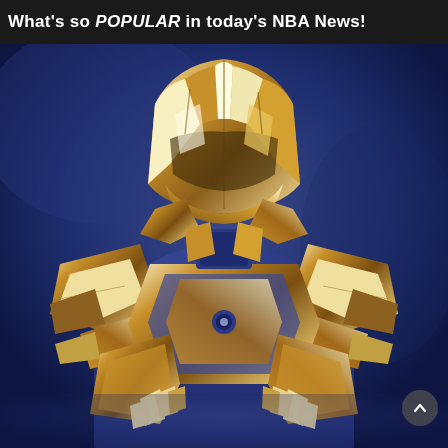What's so POPULAR in today's NBA News!
[Figure (photo): A figure wearing ornate gold and white metallic armor with a faceless gold helmet, posed with hands crossed, set against a deep blue background. The armor has detailed angular plating with gold and ivory tones throughout.]